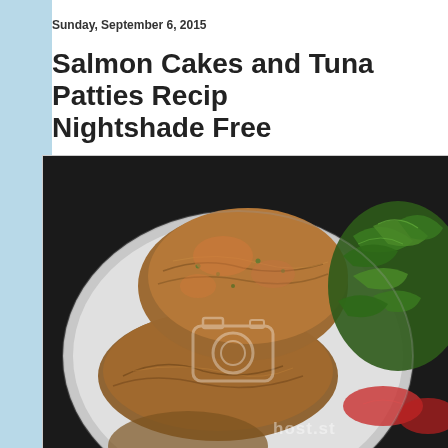Sunday, September 6, 2015
Salmon Cakes and Tuna Patties Recipe Nightshade Free
[Figure (photo): Photo of salmon/tuna fish cakes patties on a plate with green salad and tomato slices. Watermark overlay with camera icon and 'host.st' text visible.]